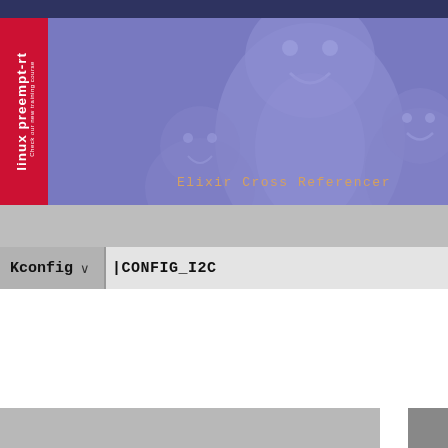[Figure (screenshot): Elixir Cross Referencer website banner with penguin mascot illustration on a blue-purple background, with a red vertical sidebar strip showing 'linux preempt-rt' and 'Check our new training course', and the text 'Elixir Cross Referencer' in monospace orange font]
Kconfig
CONFIG_I2C